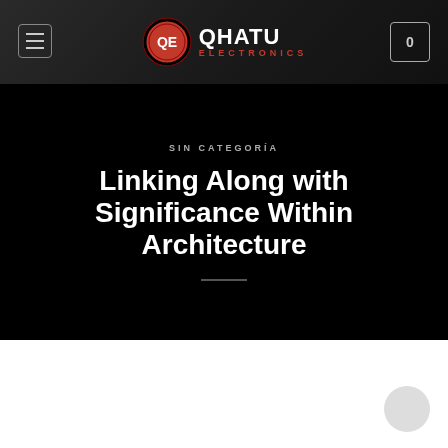QHATU ELECTRONICS
SIN CATEGORÍA
Linking Along with Significance Within Architecture